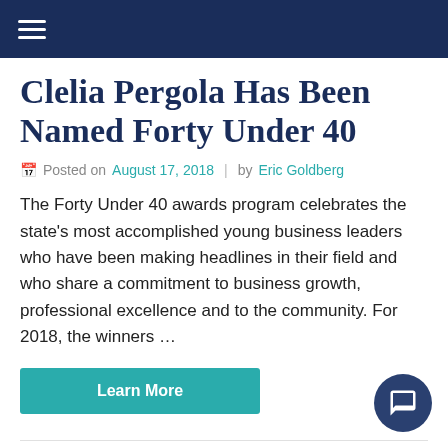Navigation bar with hamburger menu
Clelia Pergola Has Been Named Forty Under 40
Posted on August 17, 2018  |  by Eric Goldberg
The Forty Under 40 awards program celebrates the state's most accomplished young business leaders who have been making headlines in their field and who share a commitment to business growth, professional excellence and to the community. For 2018, the winners …
Learn More
Clelia Pergola has been named